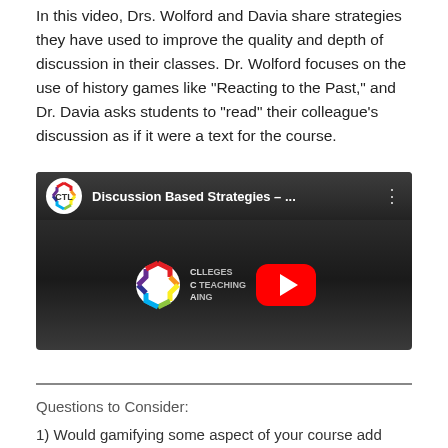In this video, Drs. Wolford and Davia share strategies they have used to improve the quality and depth of discussion in their classes. Dr. Wolford focuses on the use of history games like “Reacting to the Past,” and Dr. Davia asks students to “read” their colleague’s discussion as if it were a text for the course.
[Figure (screenshot): YouTube video thumbnail for 'Discussion Based Strategies – ...' featuring the CTL (Community Teaching and Learning) logo. A red YouTube play button is visible in the center.]
Questions to Consider:
1) Would gamifying some aspect of your course add